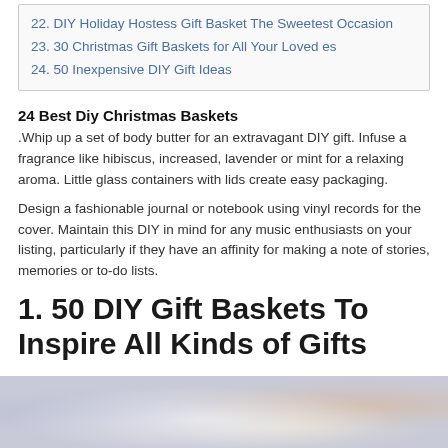22. DIY Holiday Hostess Gift Basket The Sweetest Occasion
23. 30 Christmas Gift Baskets for All Your Loved es
24. 50 Inexpensive DIY Gift Ideas
24 Best Diy Christmas Baskets
.Whip up a set of body butter for an extravagant DIY gift. Infuse a fragrance like hibiscus, increased, lavender or mint for a relaxing aroma. Little glass containers with lids create easy packaging.
Design a fashionable journal or notebook using vinyl records for the cover. Maintain this DIY in mind for any music enthusiasts on your listing, particularly if they have an affinity for making a note of stories, memories or to-do lists.
1. 50 DIY Gift Baskets To Inspire All Kinds of Gifts
[Figure (photo): Blurred bokeh photo background, partial image of a gift basket scene with colorful bokeh lights]